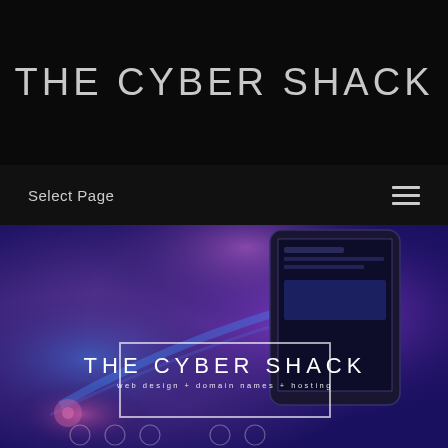THE CYBER SHACK
Select Page
[Figure (screenshot): Hero background image showing a smartphone with a blue-purple gradient background and glowing neon light effects]
THE CYBER SHACK
web design + domain names + hosting